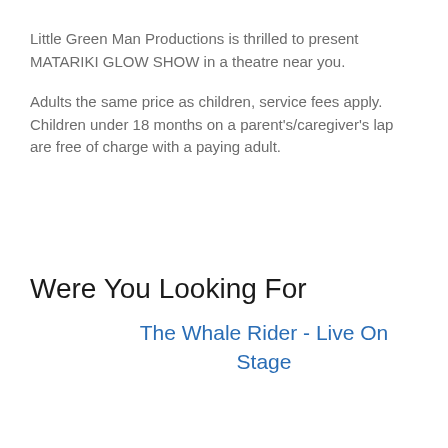Little Green Man Productions is thrilled to present MATARIKI GLOW SHOW in a theatre near you.
Adults the same price as children, service fees apply. Children under 18 months on a parent's/caregiver's lap are free of charge with a paying adult.
Were You Looking For
The Whale Rider - Live On Stage